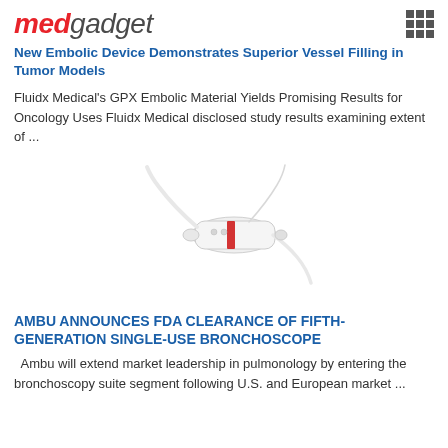medgadget
New Embolic Device Demonstrates Superior Vessel Filling in Tumor Models
Fluidx Medical's GPX Embolic Material Yields Promising Results for Oncology Uses Fluidx Medical disclosed study results examining extent of ...
[Figure (photo): A white medical device resembling a bronchoscope or catheter tool with thin flexible tubes extending from it, photographed on a white background.]
AMBU ANNOUNCES FDA CLEARANCE OF FIFTH-GENERATION SINGLE-USE BRONCHOSCOPE
Ambu will extend market leadership in pulmonology by entering the bronchoscopy suite segment following U.S. and European market ...